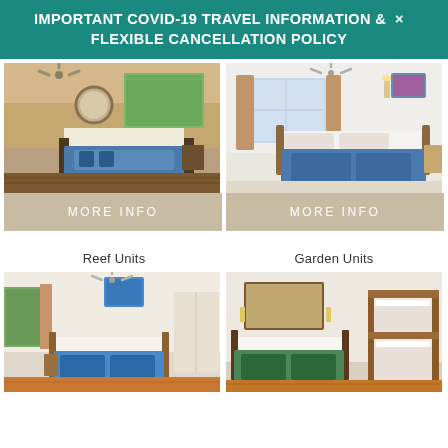IMPORTANT COVID-19 TRAVEL INFORMATION & FLEXIBLE CANCELLATION POLICY
[Figure (photo): Hotel bedroom with double bed, round mirror, wooden floor, open window showing garden view]
MORE INFO
[Figure (photo): Bright hotel bedroom with double bed dressed in blue bedspread, window with garden view, wall sconces]
MORE INFO
Reef Units
Garden Units
[Figure (photo): Reef unit bedroom with ceiling fan, double bed with blue bedspread, wooden furniture]
[Figure (photo): Garden unit bedroom with double bed and bunk bed, wooden furniture and warm lighting]